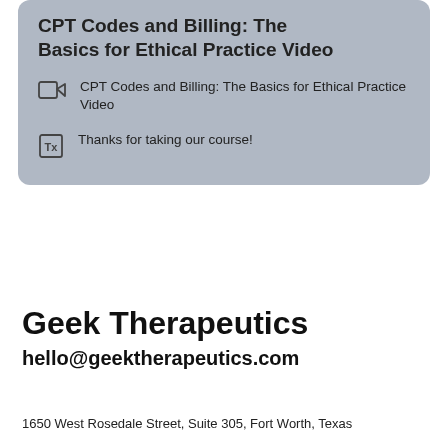CPT Codes and Billing: The Basics for Ethical Practice Video
CPT Codes and Billing: The Basics for Ethical Practice Video
Thanks for taking our course!
Geek Therapeutics
hello@geektherapeutics.com
1650 West Rosedale Street, Suite 305, Fort Worth, Texas